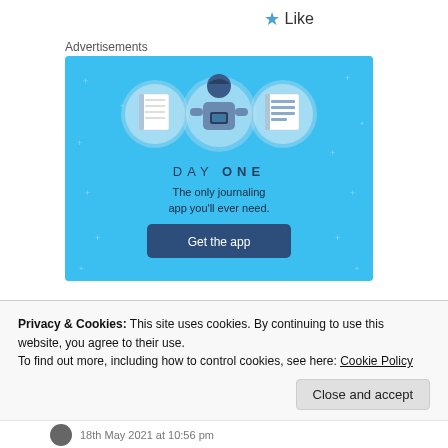★ Like
Advertisements
[Figure (illustration): Day One journaling app advertisement on a blue background. Features three circular icons (notebook, person holding phone, notebook with lines), text 'DAY ONE', subtitle 'The only journaling app you'll ever need.', and a 'Get the app' button.]
Privacy & Cookies: This site uses cookies. By continuing to use this website, you agree to their use.
To find out more, including how to control cookies, see here: Cookie Policy
Close and accept
18th May 2021 at 10:56 pm